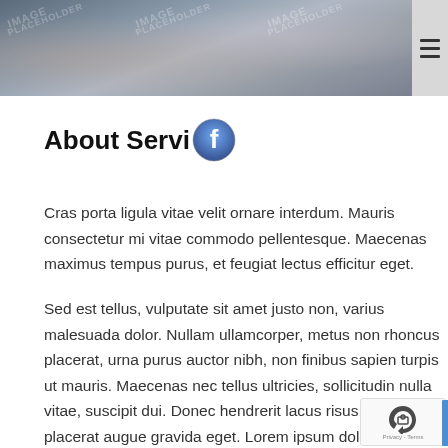[Figure (photo): Header banner image placeholder with dark blue-grey gradient background and watermark text 'IMAGE PLACEHOLDER' repeated, with hamburger menu icon on the right]
About Servi
[Figure (logo): Facebook circular icon with blue gradient and white 'f' letter]
Cras porta ligula vitae velit ornare interdum. Mauris consectetur mi vitae commodo pellentesque. Maecenas maximus tempus purus, et feugiat lectus efficitur eget.
Sed est tellus, vulputate sit amet justo non, varius malesuada dolor. Nullam ullamcorper, metus non rhoncus placerat, urna purus auctor nibh, non finibus sapien turpis ut mauris. Maecenas nec tellus ultricies, sollicitudin nulla vitae, suscipit dui. Donec hendrerit lacus risus, vel placerat augue gravida eget. Lorem ipsum dolor sit amet, consectetur adipiscing elit.Proin rutrum rhoncus arcu, quis facilisis libero rutrum in. Vivamus diam tellus, efficitur id